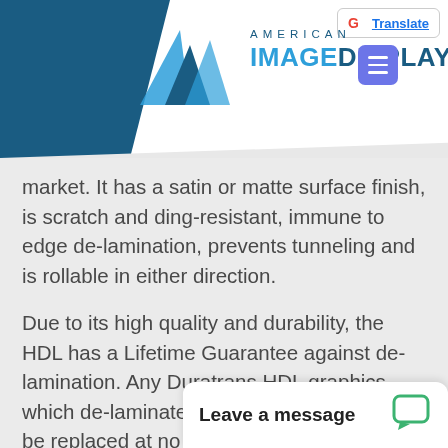American Image Displays
market. It has a satin or matte surface finish, is scratch and ding-resistant, immune to edge de-lamination, prevents tunneling and is rollable in either direction.
Due to its high quality and durability, the HDL has a Lifetime Guarantee against de-lamination. Any Duratrans HDL graphics, which de-laminate during normal usage will be replaced at no cost as long as the customer owns the graphic.
However, if th